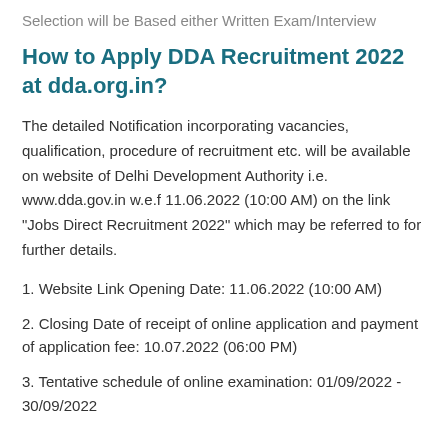Selection will be Based either Written Exam/Interview
How to Apply DDA Recruitment 2022 at dda.org.in?
The detailed Notification incorporating vacancies, qualification, procedure of recruitment etc. will be available on website of Delhi Development Authority i.e. www.dda.gov.in w.e.f 11.06.2022 (10:00 AM) on the link "Jobs Direct Recruitment 2022" which may be referred to for further details.
1. Website Link Opening Date: 11.06.2022 (10:00 AM)
2. Closing Date of receipt of online application and payment of application fee: 10.07.2022 (06:00 PM)
3. Tentative schedule of online examination: 01/09/2022 - 30/09/2022